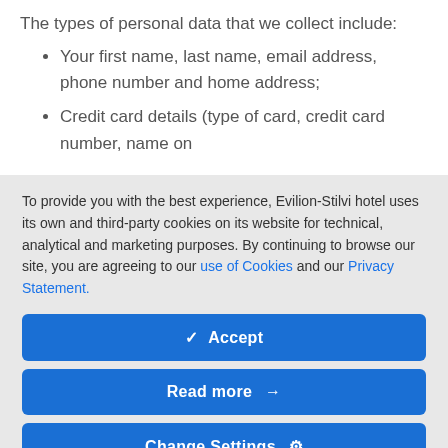The types of personal data that we collect include:
Your first name, last name, email address, phone number and home address;
Credit card details (type of card, credit card number, name on
To provide you with the best experience, Evilion-Stilvi hotel uses its own and third-party cookies on its website for technical, analytical and marketing purposes. By continuing to browse our site, you are agreeing to our use of Cookies and our Privacy Statement.
Accept
Read more →
Change Settings ⚙